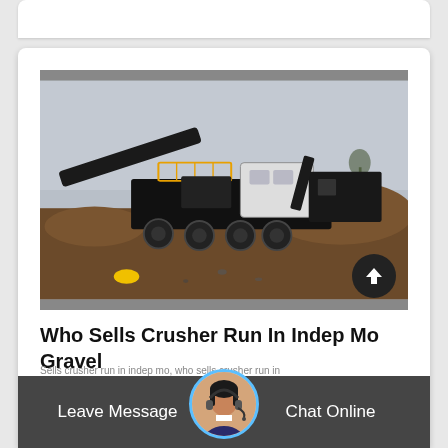[Figure (photo): Mobile stone crusher / jaw crusher machine on a construction or mining site with large piles of gravel and dirt in the background, hazy/foggy atmosphere. A yellow hard hat is visible in the foreground.]
Who Sells Crusher Run In Indep Mo Gravel
Sells crusher run in indep mo, who sells crusher run in
[Figure (photo): Customer service representative avatar — woman with headset in a circular frame with blue border]
Leave Message
Chat Online